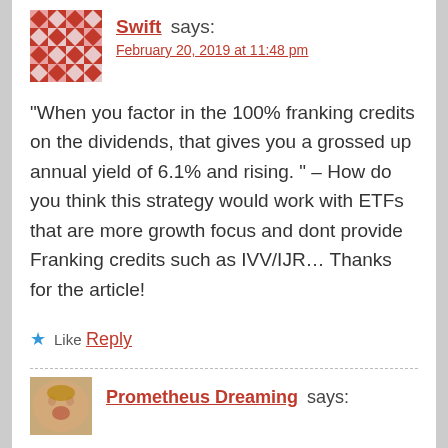Swift says:
February 20, 2019 at 11:48 pm
“When you factor in the 100% franking credits on the dividends, that gives you a grossed up annual yield of 6.1% and rising. ” – How do you think this strategy would work with ETFs that are more growth focus and dont provide Franking credits such as IVV/IJR… Thanks for the article!
Like
Reply
Prometheus Dreaming says: